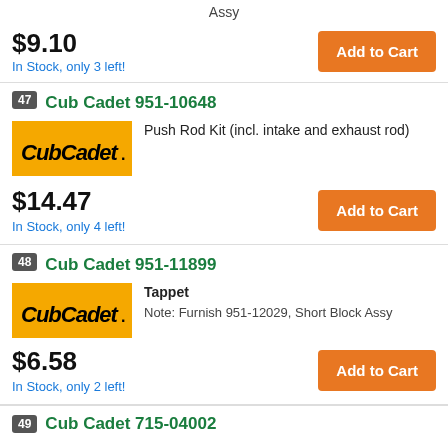Assy
$9.10
In Stock, only 3 left!
Add to Cart
47
Cub Cadet 951-10648
[Figure (logo): Cub Cadet logo on yellow background]
Push Rod Kit (incl. intake and exhaust rod)
$14.47
In Stock, only 4 left!
Add to Cart
48
Cub Cadet 951-11899
[Figure (logo): Cub Cadet logo on yellow background]
Tappet
Note: Furnish 951-12029, Short Block Assy
$6.58
In Stock, only 2 left!
Add to Cart
49 Cub Cadet 715-04002